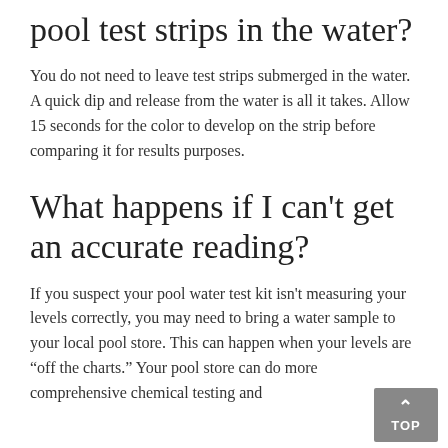pool test strips in the water?
You do not need to leave test strips submerged in the water. A quick dip and release from the water is all it takes. Allow 15 seconds for the color to develop on the strip before comparing it for results purposes.
What happens if I can’t get an accurate reading?
If you suspect your pool water test kit isn’t measuring your levels correctly, you may need to bring a water sample to your local pool store. This can happen when your levels are “off the charts.” Your pool store can do more comprehensive chemical testing and